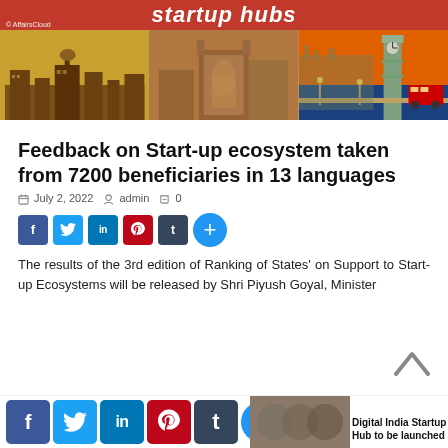[Figure (photo): Banner with red background showing 'startup hubs' text and AffairsCloud branding, with city photos strip below showing Bangalore, Mumbai, and London]
Feedback on Start-up ecosystem taken from 7200 beneficiaries in 13 languages
July 2, 2022   admin   0
[Figure (infographic): Social share buttons: Facebook, Twitter, LinkedIn, Pinterest, Tumblr, plus more]
The results of the 3rd edition of Ranking of States' on Support to Start-up Ecosystems will be released by Shri Piyush Goyal, Minister
[Figure (infographic): Bottom social share buttons (large): Facebook, Twitter, LinkedIn, Pinterest, Tumblr, plus more]
Digital India Startup Hub to be launched